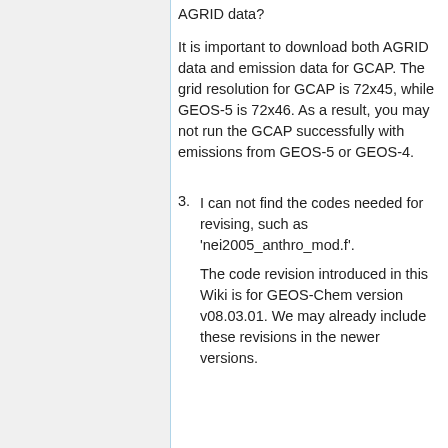AGRID data?
It is important to download both AGRID data and emission data for GCAP. The grid resolution for GCAP is 72x45, while GEOS-5 is 72x46. As a result, you may not run the GCAP successfully with emissions from GEOS-5 or GEOS-4.
3. I can not find the codes needed for revising, such as 'nei2005_anthro_mod.f'.
The code revision introduced in this Wiki is for GEOS-Chem version v08.03.01. We may already include these revisions in the newer versions.